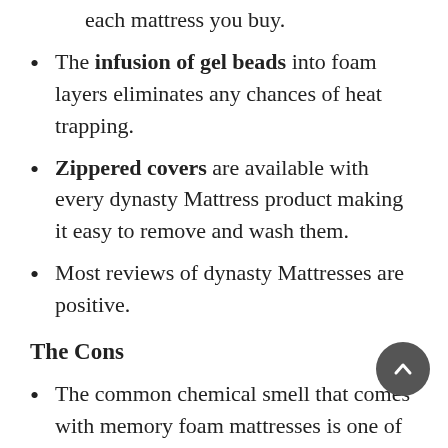each mattress you buy.
The infusion of gel beads into foam layers eliminates any chances of heat trapping.
Zippered covers are available with every dynasty Mattress product making it easy to remove and wash them.
Most reviews of dynasty Mattresses are positive.
The Cons
The common chemical smell that comes with memory foam mattresses is one of the drawbacks, but it can go away if you